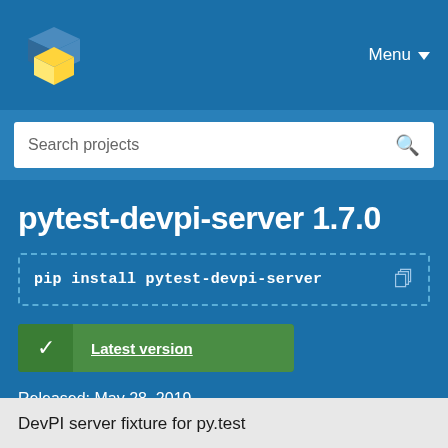[Figure (logo): PyPI logo — stacked 3D box icon in blue and yellow]
Menu
Search projects
pytest-devpi-server 1.7.0
pip install pytest-devpi-server
Latest version
Released: May 28, 2019
DevPI server fixture for py.test